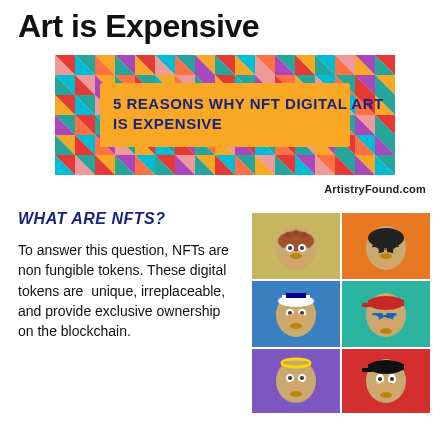Art is Expensive
[Figure (infographic): Banner image with colorful geometric diamond pattern background and a yellow rectangle containing bold black text: '5 REASONS WHY NFT DIGITAL ART IS EXPENSIVE']
ArtistryFound.com
WHAT ARE NFTS?
To answer this question, NFTs are non fungible tokens. These digital tokens are  unique, irreplaceable, and provide exclusive ownership on the blockchain.
[Figure (illustration): Grid of 6 Bored Ape Yacht Club NFT illustrations showing cartoon apes with various accessories and colorful backgrounds arranged in a 2x3 grid]